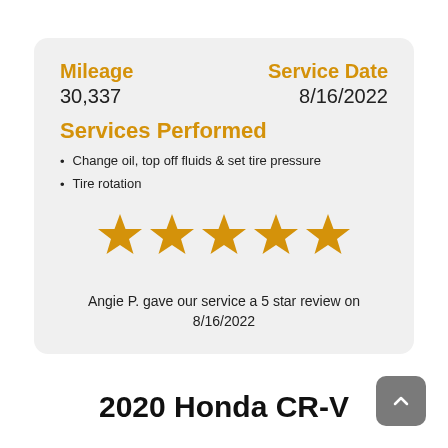Mileage
30,337
Service Date
8/16/2022
Services Performed
Change oil, top off fluids & set tire pressure
Tire rotation
[Figure (other): Five gold star rating icons]
Angie P. gave our service a 5 star review on 8/16/2022
2020 Honda CR-V